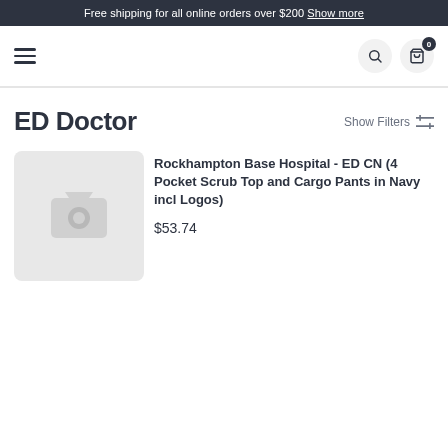Free shipping for all online orders over $200 Show more
[Figure (screenshot): Navigation bar with hamburger menu, search icon, and cart icon with 0 items badge]
ED Doctor
Show Filters
[Figure (photo): Product image placeholder with camera icon on grey background]
Rockhampton Base Hospital - ED CN (4 Pocket Scrub Top and Cargo Pants in Navy incl Logos)
$53.74